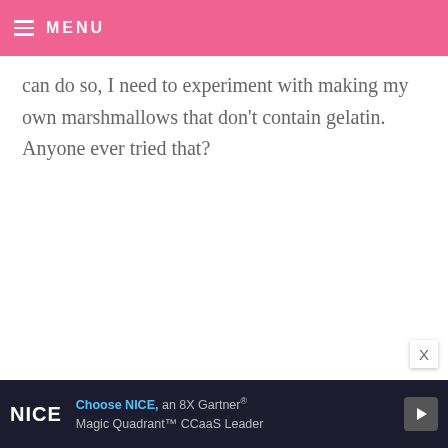MENU
can do so, I need to experiment with making my own marshmallows that don’t contain gelatin. Anyone ever tried that?
CARRIE — NOVEMBER 8, 2010 @ 10:51 AM REPLY
Giant marshmallows are also perfect between two cookies- chocolate chip w/ m&m’s are my favorite!
[Figure (other): Advertisement banner for NICE: Choose NICE, an 8X Gartner Magic Quadrant CCaaS Leader]